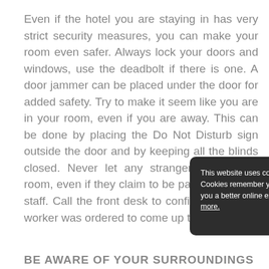Even if the hotel you are staying in has very strict security measures, you can make your room even safer. Always lock your doors and windows, use the deadbolt if there is one. A door jammer can be placed under the door for added safety. Try to make it seem like you are in your room, even if you are away. This can be done by placing the Do Not Disturb sign outside the door and by keeping all the blinds closed. Never let any stranger inside your room, even if they claim to be part of the hotel staff. Call the front desk to confirm whether a worker was ordered to come up to your room.
[Figure (screenshot): Cookie consent banner with dark background. Text reads: 'This website uses cookies. Cookies remember you so we can give you a better online experience. Learn more.' Button text: 'OKAY, THANKS' in green.]
BE AWARE OF YOUR SURROUNDINGS